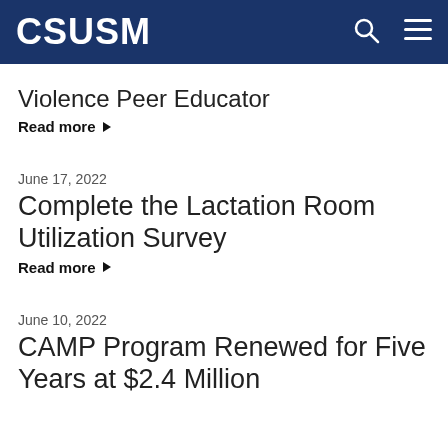CSUSM
Violence Peer Educator
Read more ▶
June 17, 2022
Complete the Lactation Room Utilization Survey
Read more ▶
June 10, 2022
CAMP Program Renewed for Five Years at $2.4 Million